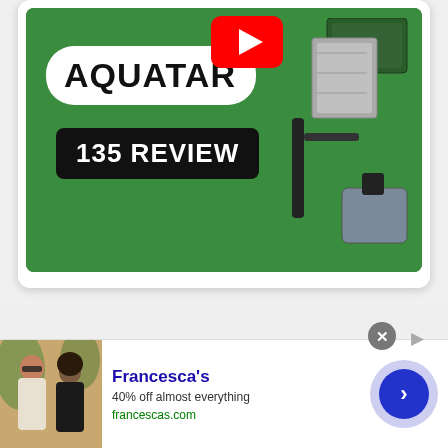[Figure (screenshot): YouTube video thumbnail showing products laid out on grass with 'AQUATAR' label in white speech bubble, YouTube play button icon, and '135 REVIEW' in black banner. Various equipment items visible on right side including bags and a tripod-like device.]
[Figure (screenshot): Advertisement banner for Francesca's showing two women in outdoor setting, with text 'Francesca's', '40% off almost everything', 'francescas.com', and a blue circular CTA button with right arrow. Close button (X) and AdChoices icon visible at top.]